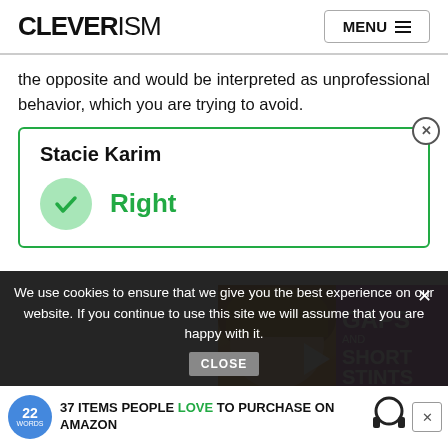CLEVERISM  MENU
the opposite and would be interpreted as unprofessional behavior, which you are trying to avoid.
Stacie Karim
Right
[Figure (screenshot): Video thumbnail overlay showing a woman and text: GAPS AND SHORT STINTS ON A RESUME]
We use cookies to ensure that we give you the best experience on our website. If you continue to use this site we will assume that you are happy with it.
37 ITEMS PEOPLE LOVE TO PURCHASE ON AMAZON